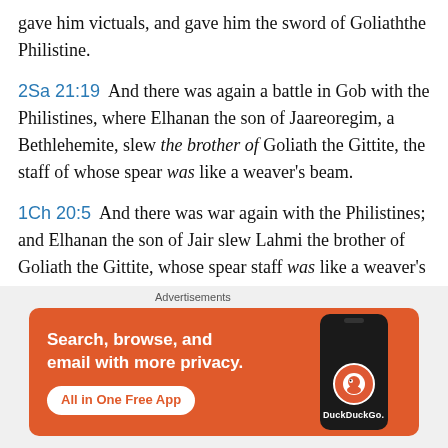gave him victuals, and gave him the sword of Goliath the Philistine.
2Sa 21:19  And there was again a battle in Gob with the Philistines, where Elhanan the son of Jaareoregim, a Bethlehemite, slew the brother of Goliath the Gittite, the staff of whose spear was like a weaver's beam.
1Ch 20:5  And there was war again with the Philistines; and Elhanan the son of Jair slew Lahmi the brother of Goliath the Gittite, whose spear staff was like a weaver's beam.
[Figure (screenshot): DuckDuckGo advertisement banner: orange background with text 'Search, browse, and email with more privacy. All in One Free App' and an image of a smartphone with the DuckDuckGo logo.]